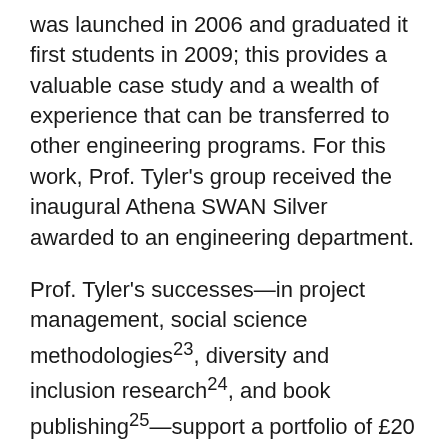was launched in 2006 and graduated it first students in 2009; this provides a valuable case study and a wealth of experience that can be transferred to other engineering programs. For this work, Prof. Tyler's group received the inaugural Athena SWAN Silver awarded to an engineering department.
Prof. Tyler's successes—in project management, social science methodologies23, diversity and inclusion research24, and book publishing25—support a portfolio of £20 million in research that is funded by research councils, industry, and government. His CV features well over 70 publications. Prof. Tyler has been named a Fellow of multiple organizations, including the UK's: Institution of Civil Engineers; Royal Society of Arts; Transport Research Foundation; and most recently the Royal Academy of